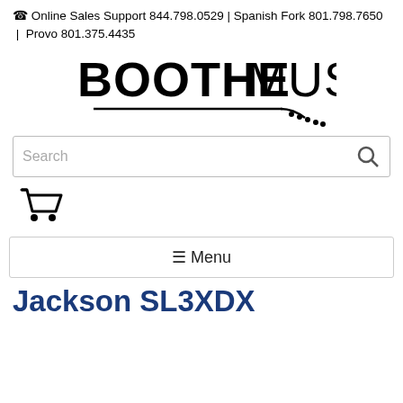☎ Online Sales Support 844.798.0529 | Spanish Fork 801.798.7650  |  Provo 801.375.4435
[Figure (logo): Boothe Music logo with guitar neck graphic]
[Figure (other): Search bar with magnifying glass icon]
[Figure (other): Shopping cart icon]
[Figure (other): Menu button with hamburger icon]
Jackson SL3XDX